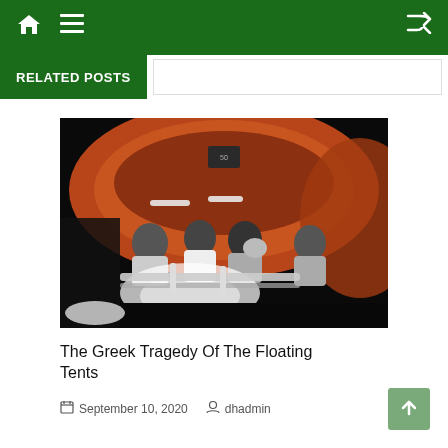Navigation bar with home, menu, and shuffle icons
RELATED POSTS
[Figure (photo): Night-time rescue photo showing several people sitting inside an orange inflatable life raft/tent on a dark sea. A bright light illuminates the passengers from below. People appear to be migrants or refugees being rescued.]
The Greek Tragedy Of The Floating Tents
September 10, 2020   dhadmin